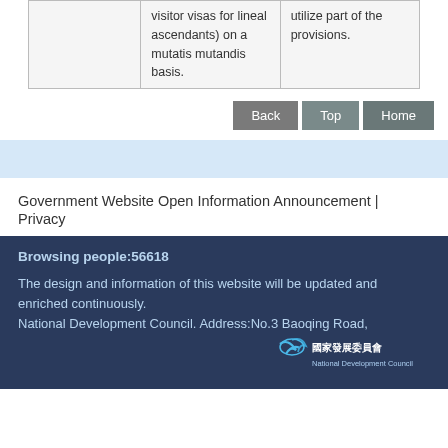|  | visitor visas for lineal ascendants) on a mutatis mutandis basis. | utilize part of the provisions. |
Back | Top | Home
Government Website Open Information Announcement | Privacy
Browsing people:56618
The design and information of this website will be updated and enriched continuously.
National Development Council. Address:No.3 Baoqing Road,
[Figure (logo): National Development Council logo with Chinese characters 國家發展委員會]